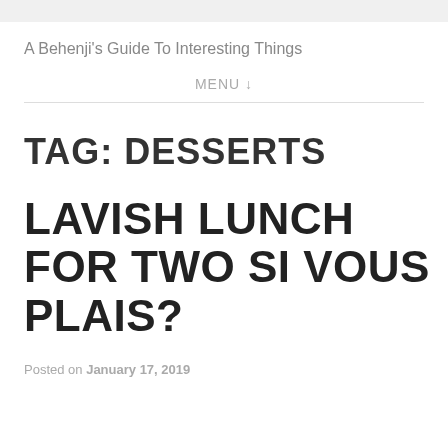A Behenji's Guide To Interesting Things
MENU ↓
TAG: DESSERTS
LAVISH LUNCH FOR TWO SI VOUS PLAIS?
Posted on January 17, 2019